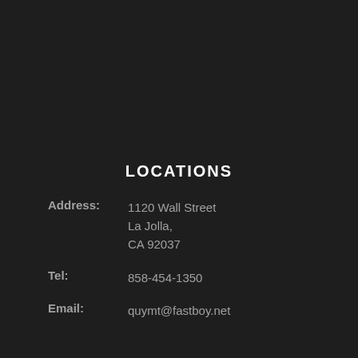LOCATIONS
Address: 1120 Wall Street La Jolla, CA 92037
Tel: 858-454-1350
Email: quymt@fastboy.net